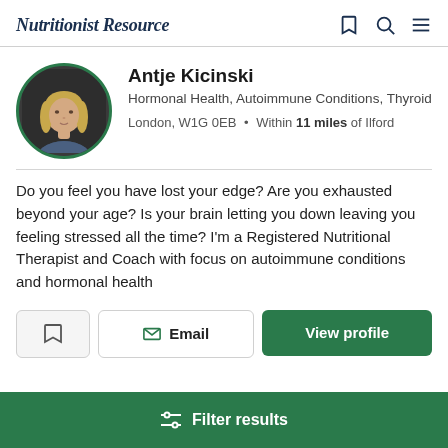Nutritionist Resource
Antje Kicinski
Hormonal Health, Autoimmune Conditions, Thyroid
London, W1G 0EB • Within 11 miles of Ilford
Do you feel you have lost your edge? Are you exhausted beyond your age? Is your brain letting you down leaving you feeling stressed all the time? I'm a Registered Nutritional Therapist and Coach with focus on autoimmune conditions and hormonal health
Email
View profile
Filter results